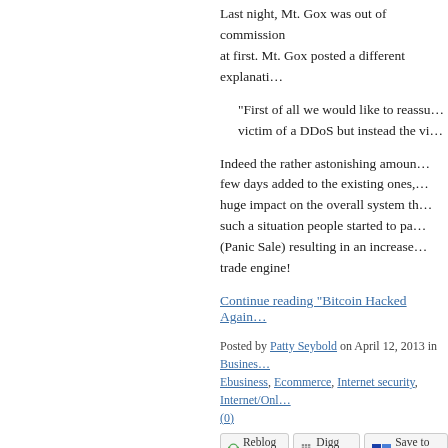Last night, Mt. Gox was out of commission at first. Mt. Gox posted a different explanati…
“First of all we would like to reassu… victim of a DDoS but instead the vi…
Indeed the rather astonishing amoun… few days added to the existing ones,… huge impact on the overall system th… such a situation people started to pa… (Panic Sale) resulting in an increase… trade engine!
Continue reading "Bitcoin Hacked Again…"
Posted by Patty Seybold on April 12, 2013 in Busines… Ebusiness, Ecommerce, Internet security, Internet/Onl… (0)
Reblog (0)  Digg This  Save to del…
APRIL 05, 2013
What You Should Know about the Bitc…
What would you do if you feared that yo… bulk of your savings? You'd remove you… The thought doesn't occur to most Eur…